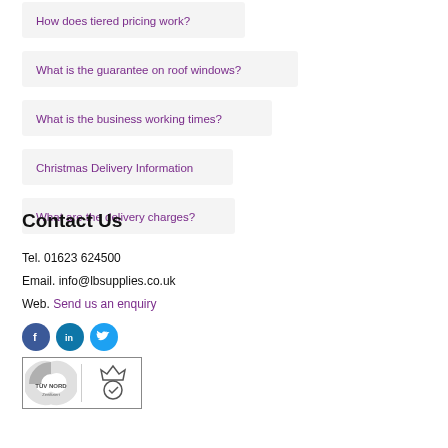How does tiered pricing work?
What is the guarantee on roof windows?
What is the business working times?
Christmas Delivery Information
What are the delivery charges?
Contact Us
Tel. 01623 624500
Email. info@lbsupplies.co.uk
Web. Send us an enquiry
[Figure (other): Social media icons: Facebook, LinkedIn, Twitter]
[Figure (other): Certification badge logos]